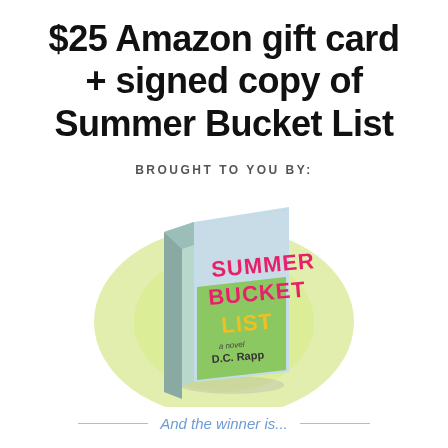$25 Amazon gift card + signed copy of Summer Bucket List
BROUGHT TO YOU BY:
[Figure (photo): Book cover of 'Summer Bucket List' by D.C. Rapp, shown at an angle against a green grassy background with a glowing halo effect. The cover shows the title in pink and yellow block letters.]
And the winner is...
Victoria A.